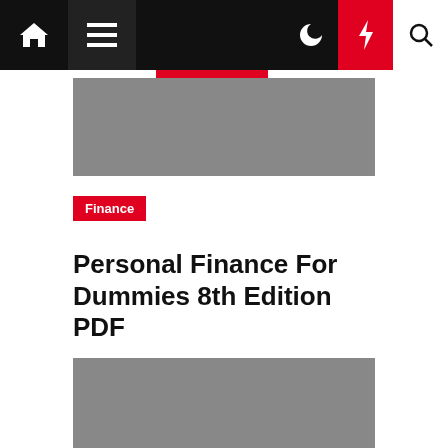Navigation bar with home, menu, moon, lightning, and search icons
[Figure (photo): Gray placeholder image at top of article]
Finance
Personal Finance For Dummies 8th Edition PDF
William Arsn  2 years ago
[Figure (photo): Gray placeholder image at bottom of article]